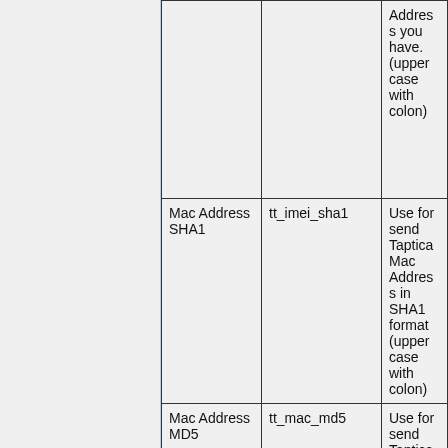|  |  | Address you have. (upper case with colon) |
| Mac Address SHA1 | tt_imei_sha1 | Use for send Taptica Mac Address in SHA1 format (upper case with colon) |
| Mac Address MD5 | tt_mac_md5 | Use for send Taptica Mac Address in MD5 format (upper case with colon) |
|  |  | Use for send Taptica |